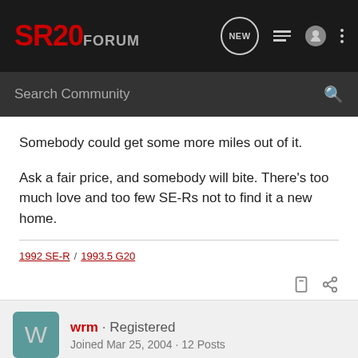SR20 FORUM
Somebody could get some more miles out of it.

Ask a fair price, and somebody will bite. There's too much love and too few SE-Rs not to find it a new home.
1992 SE-R / 1993.5 G20
wrm · Registered
Joined Mar 25, 2004 · 12 Posts